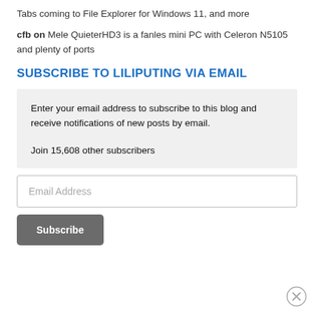Tabs coming to File Explorer for Windows 11, and more
cfb on Mele QuieterHD3 is a fanles mini PC with Celeron N5105 and plenty of ports
SUBSCRIBE TO LILIPUTING VIA EMAIL
Enter your email address to subscribe to this blog and receive notifications of new posts by email.

Join 15,608 other subscribers
Email Address
Subscribe